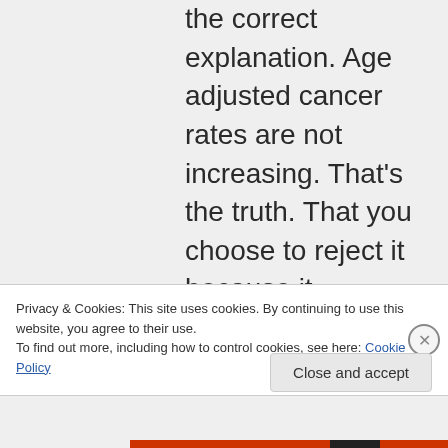the correct explanation. Age adjusted cancer rates are not increasing. That's the truth. That you choose to reject it because it
Privacy & Cookies: This site uses cookies. By continuing to use this website, you agree to their use. To find out more, including how to control cookies, see here: Cookie Policy
Close and accept